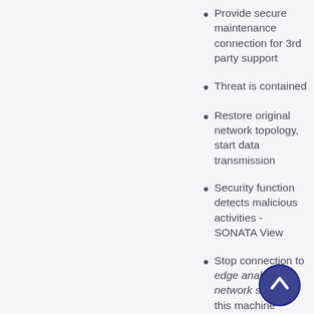Provide secure maintenance connection for 3rd party support
Threat is contained
Restore original network topology, start data transmission
Security function detects malicious activities - SONATA View
Stop connection to edge analytics network service for this machine